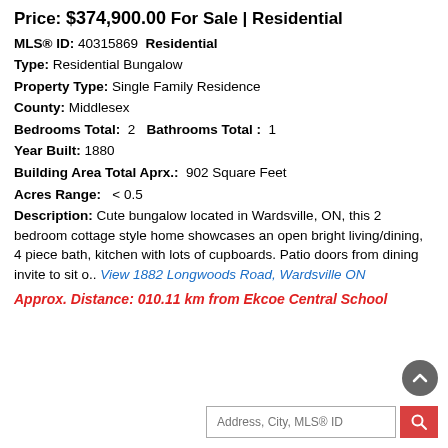Price: $374,900.00 For Sale | Residential
MLS® ID: 40315869  Residential
Type: Residential Bungalow
Property Type: Single Family Residence
County: Middlesex
Bedrooms Total: 2   Bathrooms Total : 1
Year Built: 1880
Building Area Total Aprx.: 902 Square Feet
Acres Range: < 0.5
Description: Cute bungalow located in Wardsville, ON, this 2 bedroom cottage style home showcases an open bright living/dining, 4 piece bath, kitchen with lots of cupboards. Patio doors from dining invite to sit o.. View 1882 Longwoods Road, Wardsville ON
Approx. Distance: 010.11 km from Ekcoe Central School